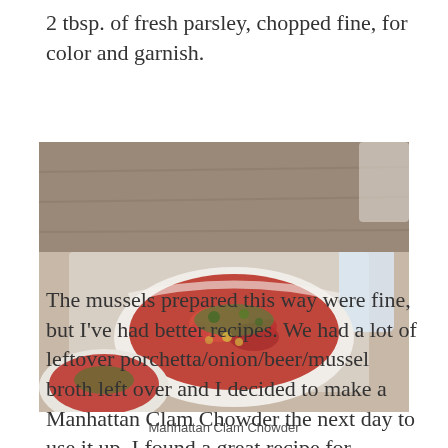2 tbsp. of fresh parsley, chopped fine, for color and garnish.
[Figure (photo): A bowl of Manhattan Clam Chowder, a tomato-based soup with vegetables and clams, served in a white bowl on a linen cloth, with another bowl visible in the background and a glass of water.]
Manhattan Clam Chowder
The mussels prepared this way were fine, but I've had better recipes. We had a lot of leftover porchetta/onion/beer/mussel broth left over and I decided to make a Manhattan Clam Chowder the next day to use it up. I found a great recipe for Manhattan Clam Chowder by Sam Sifton in